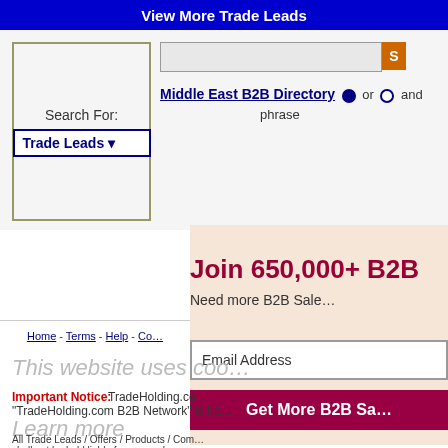View More Trade Leads
Search For: Trade Leads
Middle East B2B Directory or and phrase
[Figure (screenshot): White content area / advertisement space]
Join 650,000+ B2B
Need more B2B Sales
Email Address
Get More B2B Sales
Home - Terms - Help - Co...
This website uses coo...
Important Notice: TradeHolding.com... "TradeHolding.com B2B Network" is fra... All Trade Leads / Offers / Products / Com... shall not be held liable for any such c...
Learn more